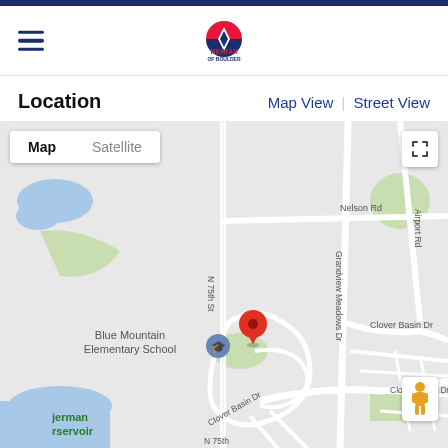RE/MAX of Boulder
Location
Map View | Street View
[Figure (map): Google Map view showing the area around Blue Mountain Elementary School in Boulder/Longmont area, Colorado. Streets visible include N 75th St, Nelson Rd, Grandview Meadows Dr, Airport Rd, Clover Basin Dr. A red map pin marks the property location. Map/Satellite toggle buttons and fullscreen control visible.]